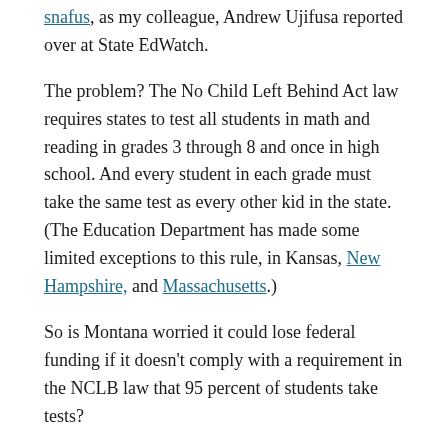snafus, as my colleague, Andrew Ujifusa reported over at State EdWatch.
The problem? The No Child Left Behind Act law requires states to test all students in math and reading in grades 3 through 8 and once in high school. And every student in each grade must take the same test as every other kid in the state. (The Education Department has made some limited exceptions to this rule, in Kansas, New Hampshire, and Massachusetts.)
So is Montana worried it could lose federal funding if it doesn't comply with a requirement in the NCLB law that 95 percent of students take tests?
SEE ALSO